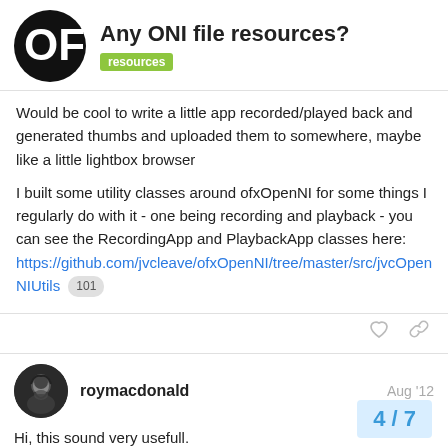Any ONI file resources? resources
Would be cool to write a little app recorded/played back and generated thumbs and uploaded them to somewhere, maybe like a little lightbox browser
I built some utility classes around ofxOpenNI for some things I regularly do with it - one being recording and playback - you can see the RecordingApp and PlaybackApp classes here: https://github.com/jvcleave/ofxOpenNI/tree/master/src/jvcOpenNIUtils 101
roymacdonald Aug '12
Hi, this sound very usefull.
I wrote an app to export oni files to textured .obi and I began to write a simple video editor which has so fa and a in/out point editor.
4 / 7